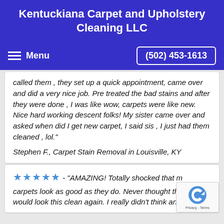Kentuckiana Carpet and Upholstery Cleaning LLC
Menu   (502) 453-1613
called them , they set up a quick appointment, came over and did a very nice job. Pre treated the bad stains and after they were done , I was like wow, carpets were like new. Nice hard working descent folks! My sister came over and asked when did I get new carpet, I said sis , I just had them cleaned , lol."
Stephen F., Carpet Stain Removal in Louisville, KY
★★★★★ - "AMAZING! Totally shocked that my carpets look as good as they do. Never thought they would look this clean again. I really didn't think anyone